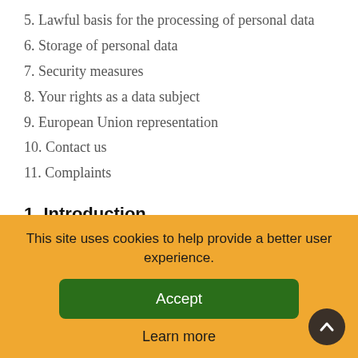5. Lawful basis for the processing of personal data
6. Storage of personal data
7. Security measures
8. Your rights as a data subject
9. European Union representation
10. Contact us
11. Complaints
1. Introduction
We appreciate the trust you place in us when sharing your person
This site uses cookies to help provide a better user experience.
Accept
Learn more